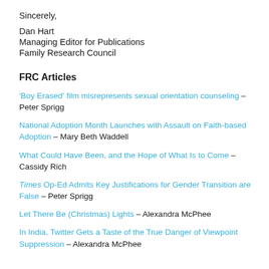Sincerely,
Dan Hart
Managing Editor for Publications
Family Research Council
FRC Articles
‘Boy Erased’ film misrepresents sexual orientation counseling – Peter Sprigg
National Adoption Month Launches with Assault on Faith-based Adoption – Mary Beth Waddell
What Could Have Been, and the Hope of What Is to Come – Cassidy Rich
Times Op-Ed Admits Key Justifications for Gender Transition are False – Peter Sprigg
Let There Be (Christmas) Lights – Alexandra McPhee
In India, Twitter Gets a Taste of the True Danger of Viewpoint Suppression – Alexandra McPhee